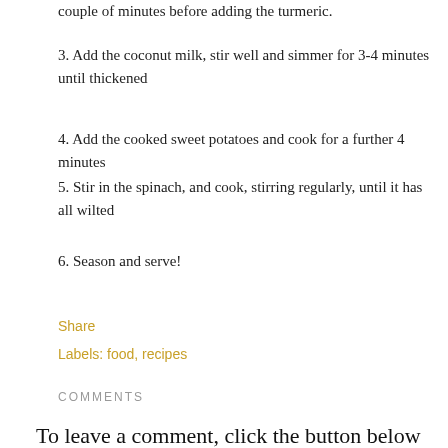couple of minutes before adding the turmeric.
3. Add the coconut milk, stir well and simmer for 3-4 minutes until thickened
4. Add the cooked sweet potatoes and cook for a further 4 minutes
5. Stir in the spinach, and cook, stirring regularly, until it has all wilted
6. Season and serve!
Share
Labels: food, recipes
COMMENTS
To leave a comment, click the button below to sign in with Google.